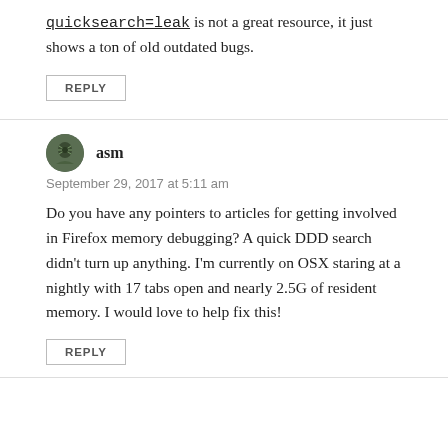quicksearch=leak is not a great resource, it just shows a ton of old outdated bugs.
REPLY
asm
September 29, 2017 at 5:11 am
Do you have any pointers to articles for getting involved in Firefox memory debugging? A quick DDD search didn't turn up anything. I'm currently on OSX staring at a nightly with 17 tabs open and nearly 2.5G of resident memory. I would love to help fix this!
REPLY